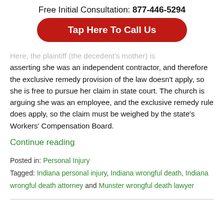Free Initial Consultation: 877-446-5294
Tap Here To Call Us
Here, the plaintiff (the decedent's mother) is asserting she was an independent contractor, and therefore the exclusive remedy provision of the law doesn't apply, so she is free to pursue her claim in state court. The church is arguing she was an employee, and the exclusive remedy rule does apply, so the claim must be weighed by the state's Workers' Compensation Board.
Continue reading
Posted in: Personal Injury
Tagged: Indiana personal injury, Indiana wrongful death, Indiana wrongful death attorney and Munster wrongful death lawyer